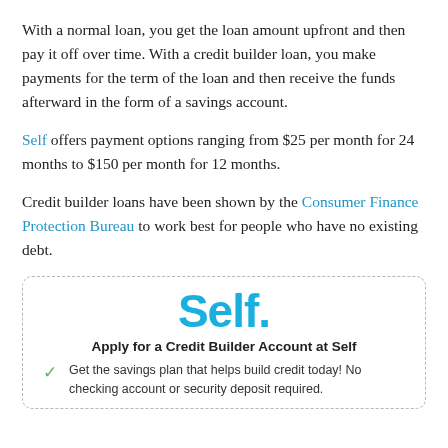With a normal loan, you get the loan amount upfront and then pay it off over time. With a credit builder loan, you make payments for the term of the loan and then receive the funds afterward in the form of a savings account.
Self offers payment options ranging from $25 per month for 24 months to $150 per month for 12 months.
Credit builder loans have been shown by the Consumer Finance Protection Bureau to work best for people who have no existing debt.
[Figure (logo): Self. logo in large bold cyan/blue text]
Apply for a Credit Builder Account at Self
Get the savings plan that helps build credit today! No checking account or security deposit required.